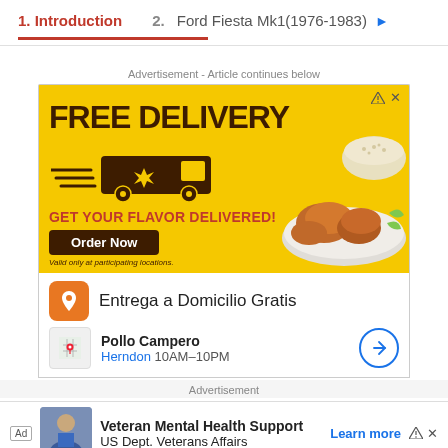1. Introduction   2. Ford Fiesta Mk1(1976-1983) ▶
Advertisement - Article continues below
[Figure (illustration): Yellow advertisement banner for Pollo Campero showing FREE DELIVERY text with delivery truck graphic and food image, GET YOUR FLAVOR DELIVERED!, Order Now button, Valid only at participating locations. Below: Entrega a Domicilio Gratis with Pollo Campero branding, Herndon 10AM-10PM location info.]
Advertisement
[Figure (illustration): Veteran Mental Health Support advertisement for US Dept. Veterans Affairs with Learn more link.]